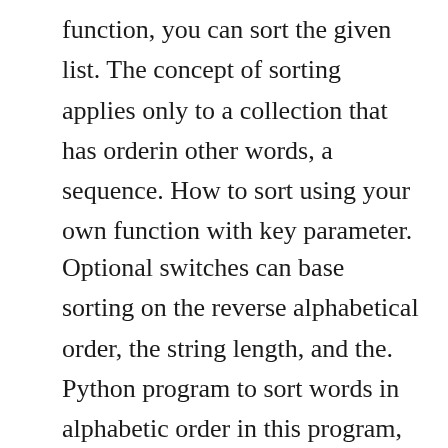function, you can sort the given list. The concept of sorting applies only to a collection that has orderin other words, a sequence. How to sort using your own function with key parameter.
Optional switches can base sorting on the reverse alphabetical order, the string length, and the. Python program to sort words in alphabetic order in this program, youll learn to sort the words in alphabetic order using for loop and display it. Python program to sort words in alphabetical order by alberto powers